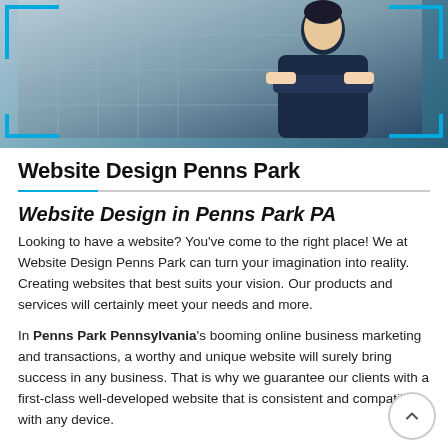[Figure (photo): Photo of a businessman in a dark suit with arms crossed, standing in front of a building with glass windows, framed with cyan/blue corner accent lines]
Website Design Penns Park
Website Design in Penns Park PA
Looking to have a website? You've come to the right place! We at Website Design Penns Park can turn your imagination into reality. Creating websites that best suits your vision. Our products and services will certainly meet your needs and more.
In Penns Park Pennsylvania's booming online business marketing and transactions, a worthy and unique website will surely bring success in any business. That is why we guarantee our clients with a first-class well-developed website that is consistent and compatible with any device.